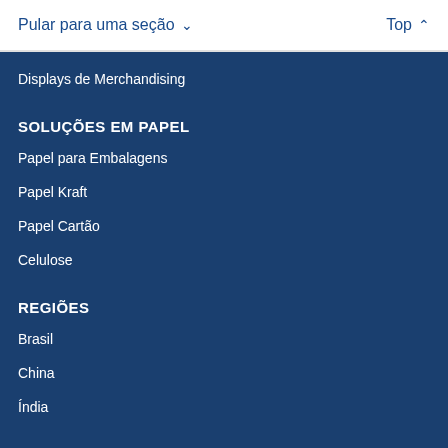Pular para uma seção ∨    Top ∧
Displays de Merchandising
SOLUÇÕES EM PAPEL
Papel para Embalagens
Papel Kraft
Papel Cartão
Celulose
REGIÕES
Brasil
China
Índia